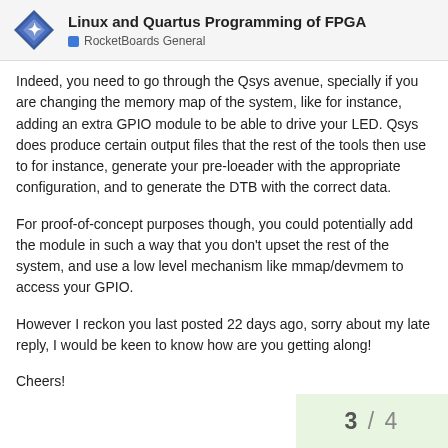Linux and Quartus Programming of FPGA — RocketBoards General
Indeed, you need to go through the Qsys avenue, specially if you are changing the memory map of the system, like for instance, adding an extra GPIO module to be able to drive your LED. Qsys does produce certain output files that the rest of the tools then use to for instance, generate your pre-loeader with the appropriate configuration, and to generate the DTB with the correct data.
For proof-of-concept purposes though, you could potentially add the module in such a way that you don't upset the rest of the system, and use a low level mechanism like mmap/devmem to access your GPIO.
However I reckon you last posted 22 days ago, sorry about my late reply, I would be keen to know how are you getting along!
Cheers!
3 / 4